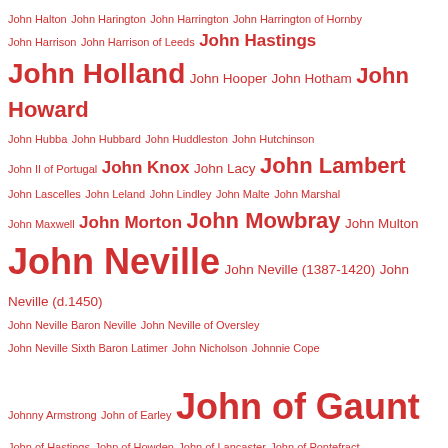John Halton John Harington John Harrington John Harrington of Hornby John Harrison John Harrison of Leeds John Hastings John Holland John Hooper John Hotham John Howard John Hubba John Hubbard John Huddleston John Hutchinson John II of Portugal John Knox John Lacy John Lambert John Lascelles John Leland John Lindley John Malte John Marshal John Maxwell John Morton John Mowbray John Multon John Neville John Neville (1387-1420) John Neville (d.1450) John Neville Baron Neville John Neville of Oversley John Neville Sixth Baron Latimer John Nicholson Johnnie Cope Johnny Armstrong John of Earley John of Gaunt John of Hastings John of Howden John of Lancaster John of Pontefract John of Worcester John Orell John Paston John Pole John Prest John Pym John Sheffield John Stafford John Stanley John St John John Stowe John Talbot John the Fearless John the Irishman John Thurloe John Vernon John Viscount Beaumont John Welles John Wenlock John Woodville John Wright John Wycliff jointure Jolnir Jorvik Joscelin of Louvain Joseceline Percy